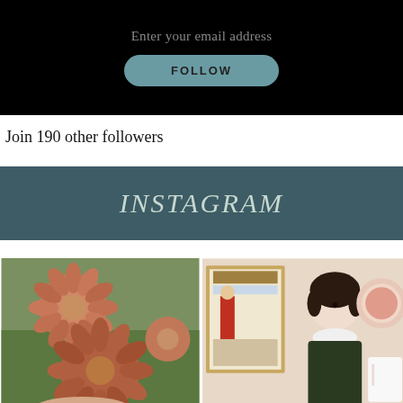[Figure (screenshot): Email subscription widget on black background with 'Enter your email address' placeholder text and a teal rounded FOLLOW button]
Join 190 other followers
INSTAGRAM
[Figure (photo): Close-up photo of pink/salmon zinnia flowers held in hand outdoors with green foliage background]
[Figure (photo): Photo of a handmade dark-dressed doll with dark hair beside a framed folk art print and red transferware dishes]